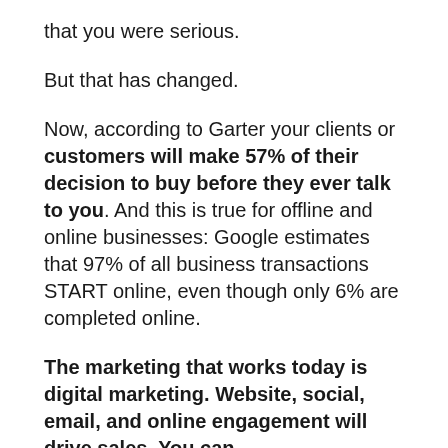that you were serious.
But that has changed.
Now, according to Garter your clients or customers will make 57% of their decision to buy before they ever talk to you. And this is true for offline and online businesses: Google estimates that 97% of all business transactions START online, even though only 6% are completed online.
The marketing that works today is digital marketing. Website, social, email, and online engagement will drive sales. You can